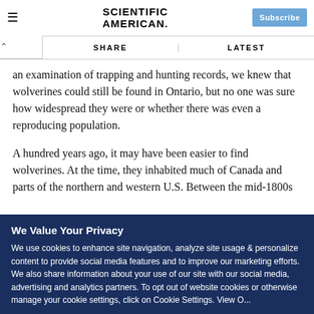SCIENTIFIC AMERICAN
an examination of trapping and hunting records, we knew that wolverines could still be found in Ontario, but no one was sure how widespread they were or whether there was even a reproducing population.
A hundred years ago, it may have been easier to find wolverines. At the time, they inhabited much of Canada and parts of the northern and western U.S. Between the mid-1800s
We Value Your Privacy
We use cookies to enhance site navigation, analyze site usage & personalize content to provide social media features and to improve our marketing efforts. We also share information about your use of our site with our social media, advertising and analytics partners. To opt out of website cookies or otherwise manage your cookie settings, click on Cookie Settings. View O...